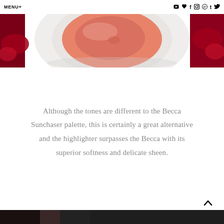MENU+
[Figure (photo): Close-up photo of a peach/coral blush compact with white casing, with red rose petals visible in the background]
Although the tones are different to the Becca Sunchaser palette, this is certainly a great alternative and the highlighter surpasses the Becca with its superior softness and delicate sheen.
[Figure (photo): Partial photo visible at bottom of page, dark toned beauty product image]